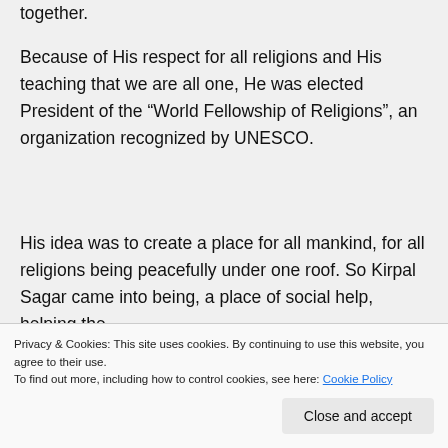together.
Because of His respect for all religions and His teaching that we are all one, He was elected President of the “World Fellowship of Religions”, an organization recognized by UNESCO.
His idea was to create a place for all mankind, for all religions being peacefully under one roof. So Kirpal Sagar came into being, a place of social help, helping the
which with the mind often tries to capture
Privacy & Cookies: This site uses cookies. By continuing to use this website, you agree to their use.
To find out more, including how to control cookies, see here: Cookie Policy